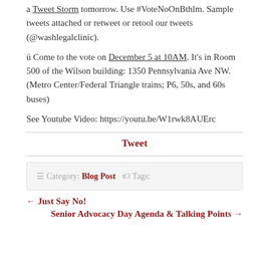a Tweet Storm tomorrow. Use #VoteNoOnBthlm. Sample tweets attached or retweet or retool our tweets (@washlegalclinic).
ü Come to the vote on December 5 at 10AM. It's in Room 500 of the Wilson building: 1350 Pennsylvania Ave NW. (Metro Center/Federal Triangle trains; P6, 50s, and 60s buses)
See Youtube Video: https://youtu.be/W1rwk8AUErc
Tweet
☰ Category: Blog Post  🏷 Tags:
← Just Say No!
Senior Advocacy Day Agenda & Talking Points →